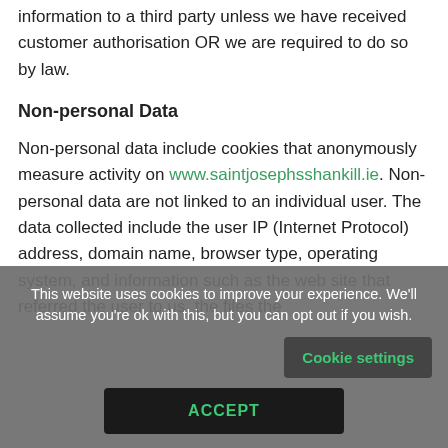information to a third party unless we have received customer authorisation OR we are required to do so by law.
Non-personal Data
Non-personal data include cookies that anonymously measure activity on www.saintjosephsshankill.ie. Non-personal data are not linked to an individual user. The data collected include the user IP (Internet Protocol) address, domain name, browser type, operating system, and information such as the web site that referred the user to us, the files the
This website uses cookies to improve your experience. We'll assume you're ok with this, but you can opt out if you wish.
Cookie settings
ACCEPT